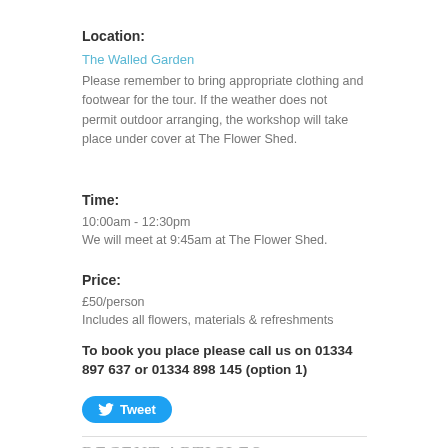Location:
The Walled Garden
Please remember to bring appropriate clothing and footwear for the tour. If the weather does not permit outdoor arranging, the workshop will take place under cover at The Flower Shed.
Time:
10:00am - 12:30pm
We will meet at 9:45am at The Flower Shed.
Price:
£50/person
Includes all flowers, materials & refreshments
To book you place please call us on 01334 897 637 or 01334 898 145 (option 1)
[Figure (other): Tweet button with Twitter bird icon]
RECENT ARTICLES
Sketches at Kiltarlity hubs